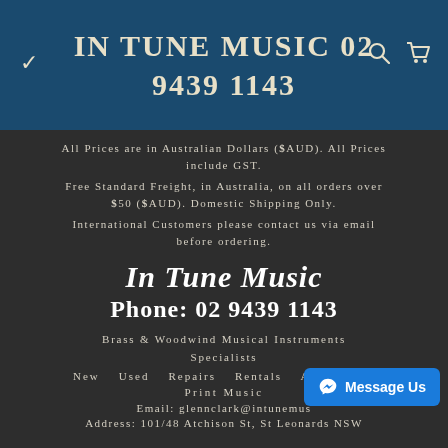IN TUNE MUSIC 02 9439 1143
All Prices are in Australian Dollars ($AUD). All Prices include GST.
Free Standard Freight, in Australia, on all orders over $50 ($AUD). Domestic Shipping Only.
International Customers please contact us via email before ordering.
In Tune Music
Phone: 02 9439 1143
Brass & Woodwind Musical Instruments Specialists
New   Used   Repairs   Rentals   Accessories
Print Music
Email: glennclark@intunemus...
Address: 101/48 Atchison St, St Leonards NSW